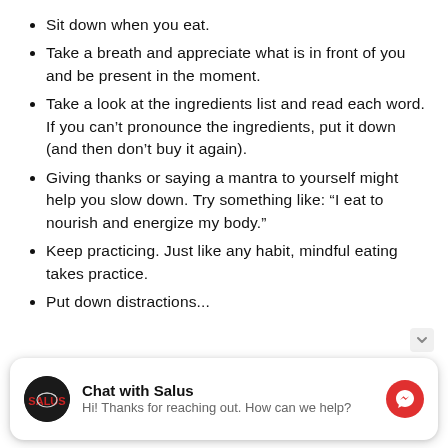Sit down when you eat.
Take a breath and appreciate what is in front of you and be present in the moment.
Take a look at the ingredients list and read each word. If you can't pronounce the ingredients, put it down (and then don't buy it again).
Giving thanks or saying a mantra to yourself might help you slow down. Try something like: “I eat to nourish and energize my body.”
Keep practicing. Just like any habit, mindful eating takes practice.
Put down distractions...
[Figure (screenshot): Chat widget with Salus logo and messenger icon. Title: Chat with Salus. Subtitle: Hi! Thanks for reaching out. How can we help?]